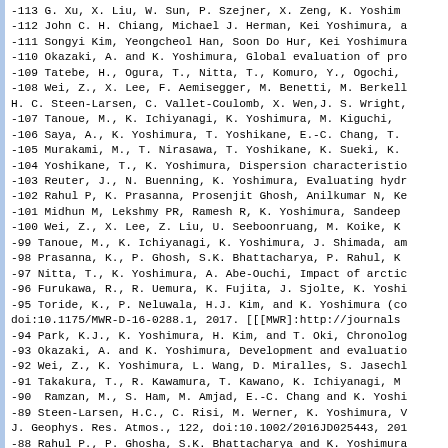-113 G. Xu, X. Liu, W. Sun, P. Szejner, X. Zeng, K. Yoshim
-112 John C. H. Chiang, Michael J. Herman, Kei Yoshimura, a
-111 Songyi Kim, Yeongcheol Han, Soon Do Hur, Kei Yoshimura
-110 Okazaki, A. and K. Yoshimura, Global evaluation of pro
-109 Tatebe, H., Ogura, T., Nitta, T., Komuro, Y., Ogochi,
-108 Wei, Z., X. Lee, F. Aemisegger, M. Benetti, M. Berkel
H. C. Steen-Larsen, C. Vallet-Coulomb, X. Wen,J. S. Wright,
-107 Tanoue, M., K. Ichiyanagi, K. Yoshimura, M. Kiguchi,
-106 Saya, A., K. Yoshimura, T. Yoshikane, E.-C. Chang, T.
-105 Murakami, M., T. Nirasawa, T. Yoshikane, K. Sueki, K.
-104 Yoshikane, T., K. Yoshimura, Dispersion characteristic
-103 Reuter, J., N. Buenning, K. Yoshimura, Evaluating hydr
-102 Rahul P, K. Prasanna, Prosenjit Ghosh, Anilkumar N, Ke
-101 Midhun M, Lekshmy PR, Ramesh R, K. Yoshimura, Sandeep
-100 Wei, Z., X. Lee, Z. Liu, U. Seeboonruang, M. Koike, K
-99 Tanoue, M., K. Ichiyanagi, K. Yoshimura, J. Shimada, am
-98 Prasanna, K., P. Ghosh, S.K. Bhattacharya, P. Rahul, K
-97 Nitta, T., K. Yoshimura, A. Abe-Ouchi, Impact of arctic
-96 Furukawa, R., R. Uemura, K. Fujita, J. Sjolte, K. Yoshi
-95 Toride, K., P. Neluwala, H.J. Kim, and K. Yoshimura (co
doi:10.1175/MWR-D-16-0288.1, 2017. [[[MWR]:http://journals
-94 Park, K.J., K. Yoshimura, H. Kim, and T. Oki, Chronolog
-93 Okazaki, A. and K. Yoshimura, Development and evaluatio
-92 Wei, Z., K. Yoshimura, L. Wang, D. Miralles, S. Jasechl
-91 Takakura, T., R. Kawamura, T. Kawano, K. Ichiyanagi, M
-90  Ramzan, M., S. Ham, M. Amjad, E.-C. Chang and K. Yoshi
-89 Steen-Larsen, H.C., C. Risi, M. Werner, K. Yoshimura, V
J. Geophys. Res. Atmos., 122, doi:10.1002/2016JD025443, 201
-88 Rahul P., P. Ghosha, S.K. Bhattacharya and K. Yoshimura
-87 Grummer, R., K. Ichiyanagi, M. Tanoue, K. Yoshimura